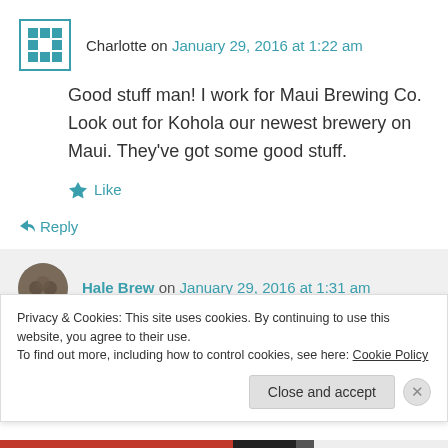Charlotte on January 29, 2016 at 1:22 am
Good stuff man! I work for Maui Brewing Co. Look out for Kohola our newest brewery on Maui. They've got some good stuff.
Like
↪ Reply
Hale Brew on January 29, 2016 at 1:31 am
Privacy & Cookies: This site uses cookies. By continuing to use this website, you agree to their use.
To find out more, including how to control cookies, see here: Cookie Policy